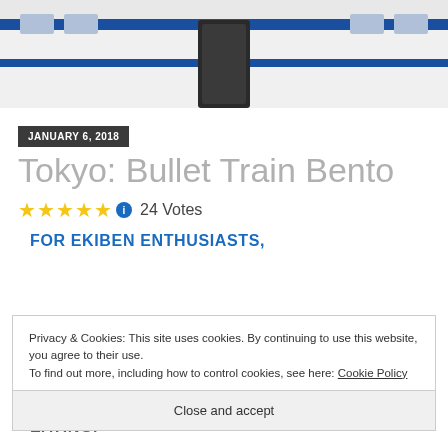[Figure (photo): Photo of a white and blue bullet train (Shinkansen) exterior showing the side of the train with blue stripes and a door in the center]
JANUARY 6, 2018
Tokyo: Bullet Train Bento
★★★★★ ℹ 24 Votes
FOR EKIBEN ENTHUSIASTS,
Privacy & Cookies: This site uses cookies. By continuing to use this website, you agree to their use.
To find out more, including how to control cookies, see here: Cookie Policy
Close and accept
EATING.